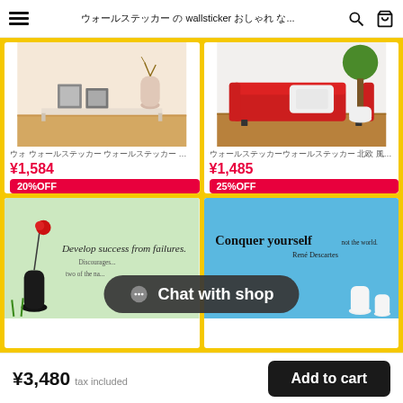≡  ウォールステッカー の wallsticker おしゃれ な...  🔍  🛒
[Figure (photo): Interior room scene with picture frames and vase on a shelf, warm wood floor]
ウォ ウォールステッカー ウォールステッカー 北欧 花 を ...
¥1,584
20%OFF
[Figure (photo): Interior room scene with red sofa, white pillows, and green topiary tree]
ウォールステッカーウォールステッカー 北欧 風 北...
¥1,485
25%OFF
[Figure (photo): Wall sticker on green background: 'Develop success from failures.' with black vase and red flower]
[Figure (photo): Wall sticker on blue background: 'Conquer yourself not the world. – Rene Descartes' with white vases]
Chat with shop
¥3,480  tax included
Add to cart